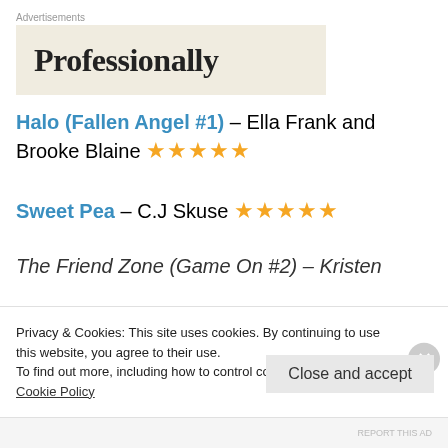Advertisements
[Figure (other): Advertisement banner with partial text 'Professionally']
Halo (Fallen Angel #1) – Ella Frank and Brooke Blaine ★★★★★
Sweet Pea – C.J Skuse ★★★★★
The Friend Zone (Game On #2) – Kristen
Privacy & Cookies: This site uses cookies. By continuing to use this website, you agree to their use.
To find out more, including how to control cookies, see here:
Cookie Policy
Close and accept